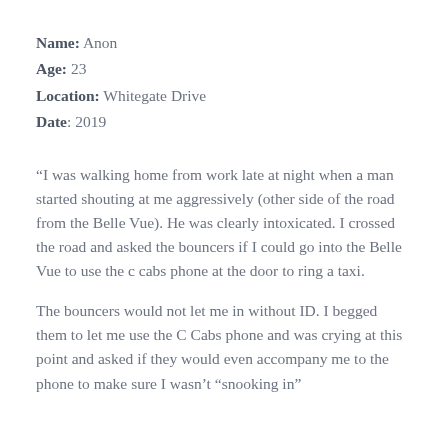Name: Anon
Age: 23
Location: Whitegate Drive
Date: 2019
“I was walking home from work late at night when a man started shouting at me aggressively (other side of the road from the Belle Vue). He was clearly intoxicated. I crossed the road and asked the bouncers if I could go into the Belle Vue to use the c cabs phone at the door to ring a taxi.
The bouncers would not let me in without ID. I begged them to let me use the C Cabs phone and was crying at this point and asked if they would even accompany me to the phone to make sure I wasn’t “snooking in”